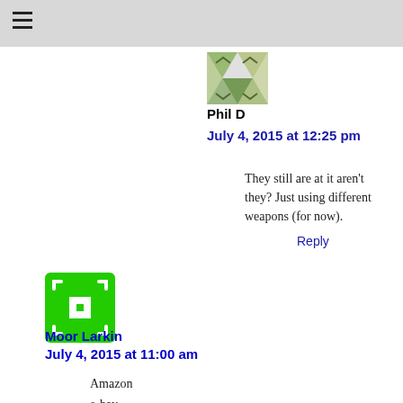≡
[Figure (illustration): Small avatar image for Phil D, triangular pattern in green/grey tones]
Phil D
July 4, 2015 at 12:25 pm
They still are at it aren't they? Just using different weapons (for now).
Reply
[Figure (illustration): Green square avatar with white grid/bracket pattern for Moor Larkin]
Moor Larkin
July 4, 2015 at 11:00 am
Amazon
e-bay
Google
One Armed Bandits
facebook